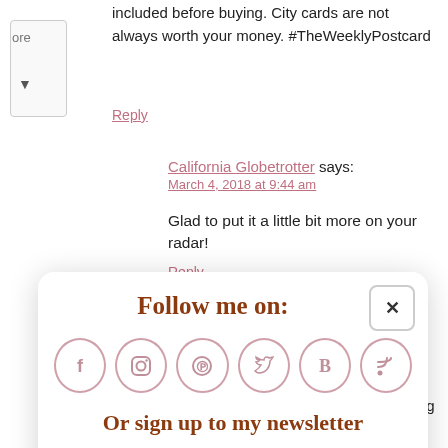included before buying. City cards are not always worth your money. #TheWeeklyPostcard
Reply
California Globetrotter says: March 4, 2018 at 9:44 am
Glad to put it a little bit more on your radar!
Reply
[Figure (infographic): Follow me on: popup modal with social media icons (Facebook, Instagram, Pinterest, Twitter, Bloglovin, RSS) and newsletter signup with Subscribe input and Sign Up button]
see a lot of things on your list. I'll definitely be saving for a future visit!